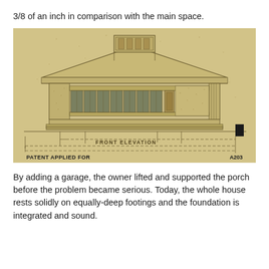3/8 of an inch in comparison with the main space.
[Figure (engineering-diagram): Architectural front elevation drawing of a Prairie-style house with a wide overhanging hip roof, a central chimney/clerestory, a band of vertical windows across the facade, and a low porch/terrace. Below the elevation are dashed dimension lines. Text reads 'FRONT ELEVATION', 'PATENT APPLIED FOR', and 'A203'. The drawing has a sepia/aged tone on a tan background.]
By adding a garage, the owner lifted and supported the porch before the problem became serious. Today, the whole house rests solidly on equally-deep footings and the foundation is integrated and sound.